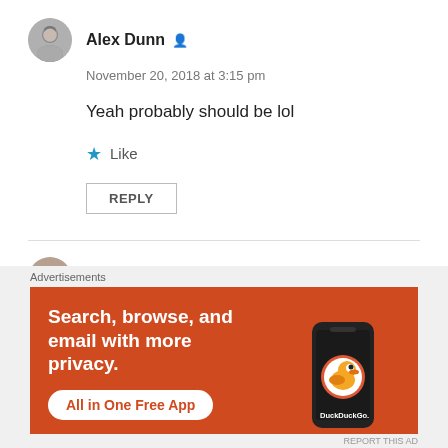[Figure (photo): Avatar of Alex Dunn, a person with dark hair]
Alex Dunn
November 20, 2018 at 3:15 pm
Yeah probably should be lol
Like
REPLY
[Figure (photo): Avatar of KrunalC]
KrunalC
November 29, 2018 at 8:42 am
Advertisements
[Figure (illustration): DuckDuckGo advertisement banner: Search, browse, and email with more privacy. All in One Free App. Shows a smartphone with the DuckDuckGo logo.]